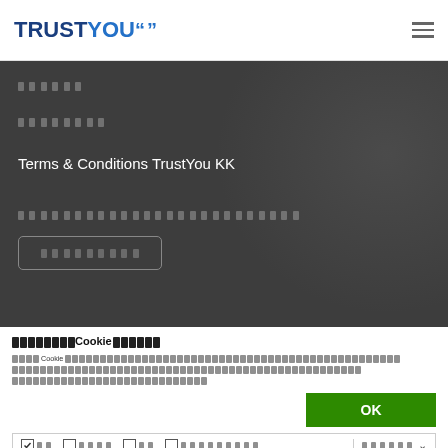TRUSTYOU (logo with navigation hamburger menu)
[Figure (screenshot): Dark hero section with Japanese text placeholders, title 'Terms & Conditions TrustYou KK', more Japanese text, and a button outline]
Terms & Conditions TrustYou KK
このサイトではCookieを使用しています
このサイトは Cookie を使用しています。Cookieを使用することにより、お客様のウェブサイトの閲覧を分析し、お客様の好みに合わせてコンテンツや広告をパーソナライズし、ソーシャルメディアの機能を提供することができます。